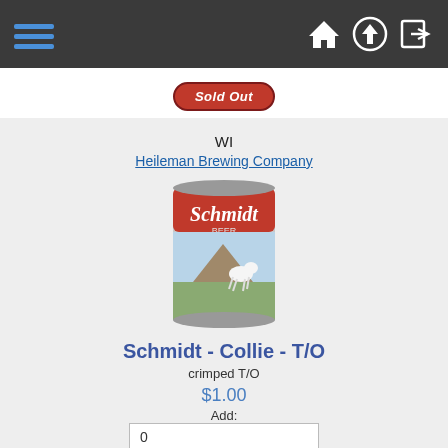Navigation bar with hamburger menu and icons (home, upload, sign-in)
[Figure (other): Sold Out badge — red pill-shaped button with italic white text 'Sold Out']
WI
Heileman Brewing Company
[Figure (photo): Photo of a Schmidt Beer can with a Collie dog scene, crimped top]
Schmidt - Collie - T/O
crimped T/O
$1.00
Add:
0